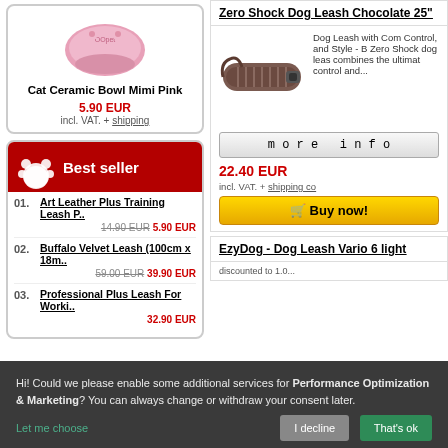[Figure (photo): Pink cat ceramic bowl product image]
Cat Ceramic Bowl Mimi Pink
5.90 EUR
incl. VAT. + shipping
Best seller
01. Art Leather Plus Training Leash P.. — 14.90 EUR 5.90 EUR
02. Buffalo Velvet Leash (100cm x 18m.. — 59.00 EUR 39.90 EUR
03. Professional Plus Leash For Worki.. — 32.90 EUR
Zero Shock Dog Leash Chocolate 25"
[Figure (photo): Chocolate brown zero shock dog leash product image]
Dog Leash with Com Control, and Style - B Zero Shock dog leas combines the ultimat control and...
more info
22.40 EUR
incl. VAT. + shipping co
Buy now!
EzyDog - Dog Leash Vario 6 light
Hi! Could we please enable some additional services for Performance Optimization & Marketing? You can always change or withdraw your consent later.
Let me choose
I decline
That's ok